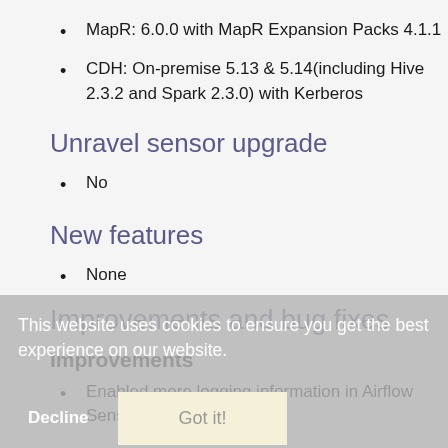MapR: 6.0.0 with MapR Expansion Packs 4.1.1
CDH: On-premise 5.13 & 5.14(including Hive 2.3.2 and Spark 2.3.0) with Kerberos
Unravel sensor upgrade
No
New features
None
Improvements and bug fixes
Improvements
Enabled more logging information in Airflow Sensor. (PLATFORM-909)